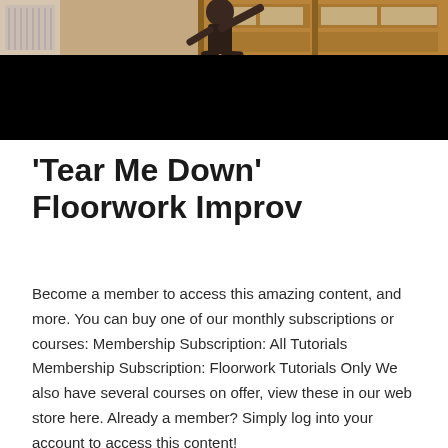[Figure (photo): A person (dancer/performer) in a dark top photographed against a wooden door background, with a radiator visible. The lower portion of the image is black (video player letterbox area).]
‘Tear Me Down’ Floorwork Improv
Become a member to access this amazing content, and more. You can buy one of our monthly subscriptions or courses: Membership Subscription: All Tutorials Membership Subscription: Floorwork Tutorials Only We also have several courses on offer, view these in our web store here. Already a member? Simply log into your account to access this content!